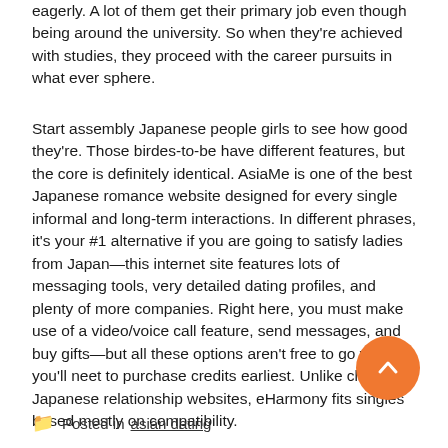eagerly. A lot of them get their primary job even though being around the university. So when they're achieved with studies, they proceed with the career pursuits in what ever sphere.
Start assembly Japanese people girls to see how good they're. Those birdes-to-be have different features, but the core is definitely identical. AsiaMe is one of the best Japanese romance website designed for every single informal and long-term interactions. In different phrases, it's your #1 alternative if you are going to satisfy ladies from Japan—this internet site features lots of messaging tools, very detailed dating profiles, and plenty of more companies. Right here, you must make use of a video/voice call feature, send messages, and buy gifts—but all these options aren't free to go with, you'll neet to purchase credits earliest. Unlike classic Japanese relationship websites, eHarmony fits singles based mostly on compatibility.
Posted in  asian dating